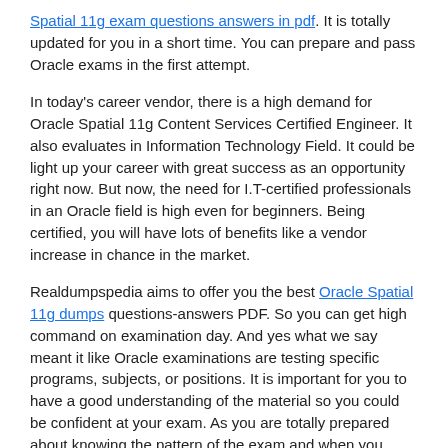Spatial 11g exam questions answers in pdf. It is totally updated for you in a short time. You can prepare and pass Oracle exams in the first attempt.
In today's career vendor, there is a high demand for Oracle Spatial 11g Content Services Certified Engineer. It also evaluates in Information Technology Field. It could be light up your career with great success as an opportunity right now. But now, the need for I.T-certified professionals in an Oracle field is high even for beginners. Being certified, you will have lots of benefits like a vendor increase in chance in the market.
Realdumpspedia aims to offer you the best Oracle Spatial 11g dumps questions-answers PDF. So you can get high command on examination day. And yes what we say meant it like Oracle examinations are testing specific programs, subjects, or positions. It is important for you to have a good understanding of the material so you could be confident at your exam. As you are totally prepared about knowing the pattern of the exam and when you know the exam. You are really confident before you have even walked into the